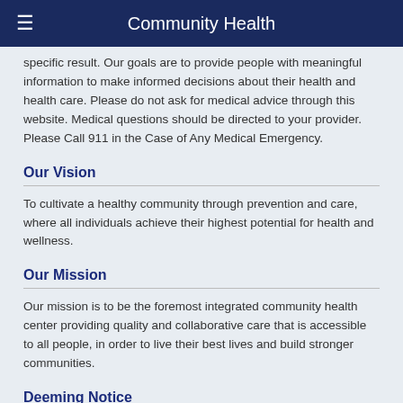Community Health
specific result. Our goals are to provide people with meaningful information to make informed decisions about their health and health care. Please do not ask for medical advice through this website. Medical questions should be directed to your provider. Please Call 911 in the Case of Any Medical Emergency.
Our Vision
To cultivate a healthy community through prevention and care, where all individuals achieve their highest potential for health and wellness.
Our Mission
Our mission is to be the foremost integrated community health center providing quality and collaborative care that is accessible to all people, in order to live their best lives and build stronger communities.
Deeming Notice